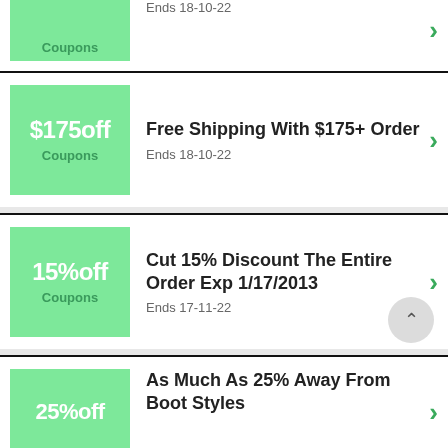[Figure (other): Partial coupon card at top showing green box with 'Coupons' label and 'Ends 18-10-22' text]
Free Shipping With $175+ Order
Ends 18-10-22
Cut 15% Discount The Entire Order Exp 1/17/2013
Ends 17-11-22
As Much As 25% Away From Boot Styles